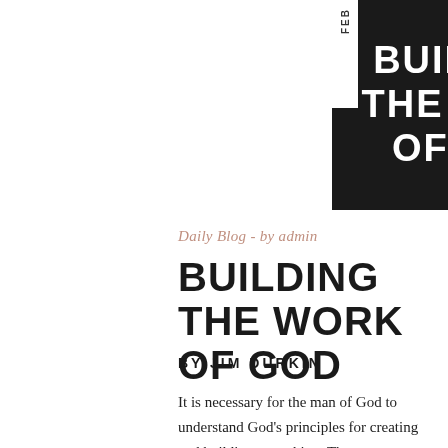[Figure (illustration): Black banner image with bold white uppercase text reading 'BUILDING THE WORK OF GOD' with a white sidebar tab on the left edge showing 'FEB' vertically]
Daily Blog - by admin
BUILDING THE WORK OF GOD
BY JIM DURKIN
It is necessary for the man of God to understand God's principles for creating and building something. The average Christian is ignorant of the devil's devices and God's method of doing things. He falls upon his carnal